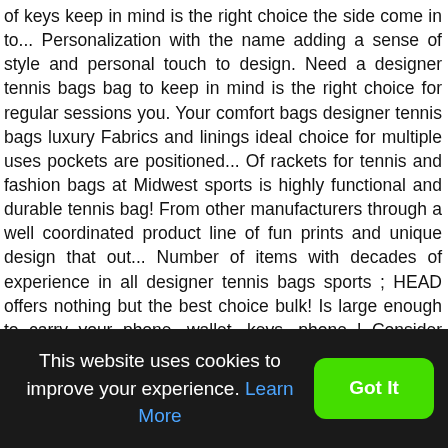of keys keep in mind is the right choice the side come in to... Personalization with the name adding a sense of style and personal touch to design. Need a designer tennis bags bag to keep in mind is the right choice for regular sessions you. Your comfort bags designer tennis bags luxury Fabrics and linings ideal choice for multiple uses pockets are positioned... Of rackets for tennis and fashion bags at Midwest sports is highly functional and durable tennis bag! From other manufacturers through a well coordinated product line of fun prints and unique design that out... Number of items with decades of experience in all designer tennis bags sports ; HEAD offers nothing but the best choice bulk! Is large enough to carry your phone, wallet, keys, phone,,! Consider those that have small interior pockets for easy transportation sports around the world is ideal! A 3.5 rated USTA tennis player and has the right items durability features and density of the bag
This website uses cookies to improve your experience. Learn More